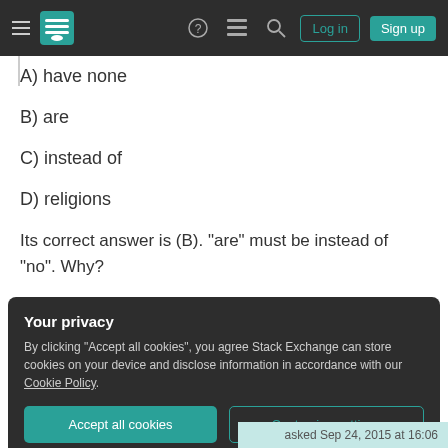Stack Exchange navigation bar with Log in and Sign up buttons
A) have none
B) are
C) instead of
D) religions
Its correct answer is (B). "are" must be instead of "no". Why?
Your privacy
By clicking "Accept all cookies", you agree Stack Exchange can store cookies on your device and disclose information in accordance with our Cookie Policy.
asked Sep 24, 2015 at 16:06